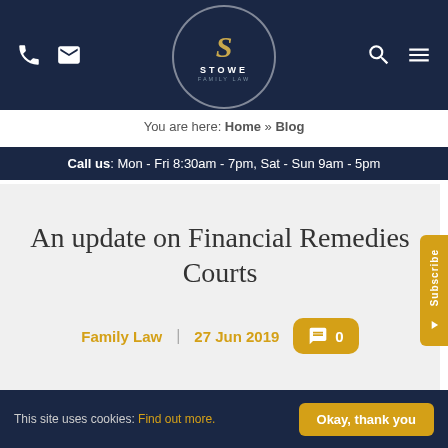[Figure (logo): Stowe Family Law logo — circular dark navy badge with stylized gold 'S', text STOWE FAMILY LAW]
You are here: Home » Blog
Call us: Mon - Fri 8:30am - 7pm, Sat - Sun 9am - 5pm
An update on Financial Remedies Courts
Family Law  |  27 Jun 2019  0
This site uses cookies: Find out more.  Okay, thank you